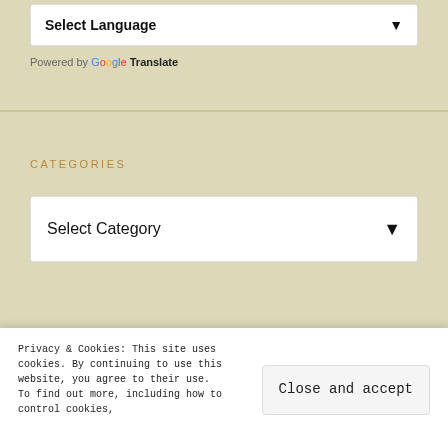Select Language ▾
Powered by Google Translate
CATEGORIES
Select Category ▾
RECENT POSTS
Advertisements
[Figure (screenshot): Orange advertisement banner with dark device image]
Privacy & Cookies: This site uses cookies. By continuing to use this website, you agree to their use. To find out more, including how to control cookies,
Close and accept